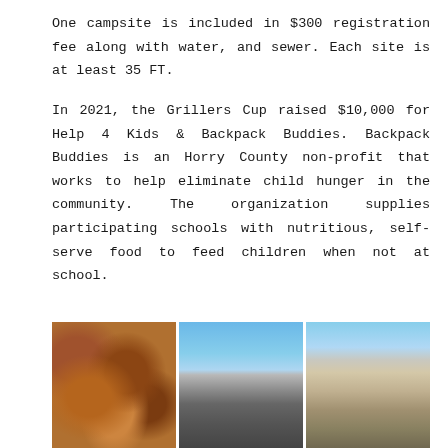One campsite is included in $300 registration fee along with water, and sewer. Each site is at least 35 FT.
In 2021, the Grillers Cup raised $10,000 for Help 4 Kids & Backpack Buddies. Backpack Buddies is an Horry County non-profit that works to help eliminate child hunger in the community. The organization supplies participating schools with nutritious, self-serve food to feed children when not at school.
[Figure (photo): Three photos side by side: left shows grilled food/wings, center shows an outdoor event with people and cars, right shows a person handling a bag outdoors.]